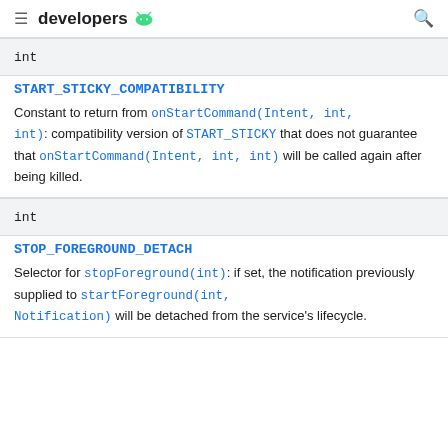developers
| Type | Constant | Description |
| --- | --- | --- |
| int | START_STICKY_COMPATIBILITY | Constant to return from onStartCommand(Intent, int, int): compatibility version of START_STICKY that does not guarantee that onStartCommand(Intent, int, int) will be called again after being killed. |
| int | STOP_FOREGROUND_DETACH | Selector for stopForeground(int): if set, the notification previously supplied to startForeground(int, Notification) will be detached from the service's lifecycle. |